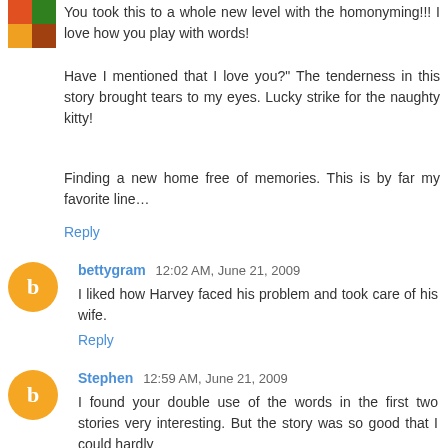You took this to a whole new level with the homonyming!!! I love how you play with words!
Have I mentioned that I love you?" The tenderness in this story brought tears to my eyes. Lucky strike for the naughty kitty!
Finding a new home free of memories. This is by far my favorite line…
Reply
bettygram  12:02 AM, June 21, 2009
I liked how Harvey faced his problem and took care of his wife.
Reply
Stephen  12:59 AM, June 21, 2009
I found your double use of the words in the first two stories very interesting. But the story was so good that I could hardly